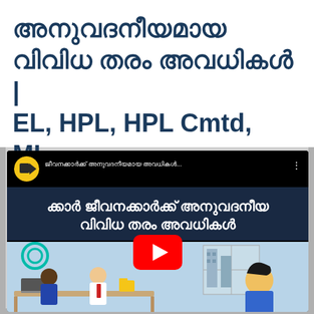അനുവദനീയമായ വിവിധ തരം അവധികൾ | EL, HPL, HPL Cmtd, ML, PL, CL, SPL, LWA, Com.L
[Figure (screenshot): YouTube video thumbnail showing a Malayalam-language video about various types of permissible leaves for government employees (EL, HPL, ML, PL, CL, SPL, LWA, Com.L). The thumbnail shows an animated office scene with cartoon characters and a YouTube play button in the center. The video title in Malayalam reads about permissible various types of leaves for government employees.]